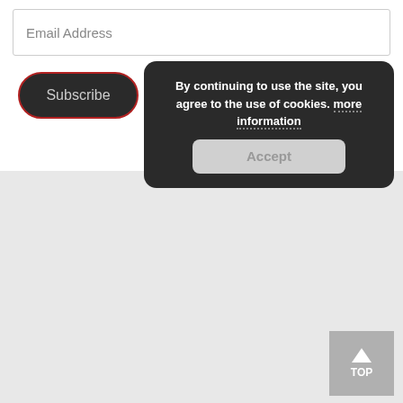Email Address
Subscribe
By continuing to use the site, you agree to the use of cookies. more information
Accept
↑ TOP